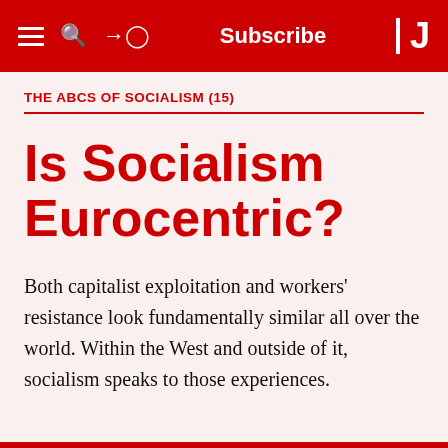≡ 🔍 ⊙  Subscribe  J
THE ABCS OF SOCIALISM (15)
Is Socialism Eurocentric?
Both capitalist exploitation and workers' resistance look fundamentally similar all over the world. Within the West and outside of it, socialism speaks to those experiences.